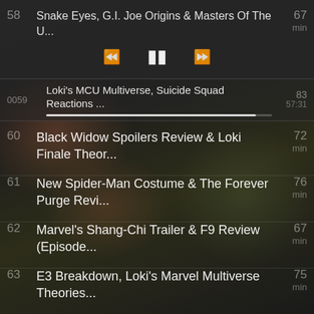[Figure (screenshot): Podcast app list screenshot showing episode list with player controls at top]
58 Snake Eyes, G.I. Joe Origins & Masters Of The U... 67 min
59 Loki's MCU Multiverse, Suicide Squad Reactions ... 83 min (with progress bar, time 00:00 to 57:31)
60 Black Widow Spoilers Review & Loki Finale Theor... 72 min
61 New Spider-Man Costume & The Forever Purge Revi... 76 min
62 Marvel's Shang-Chi Trailer & F9 Review (Episode... 67 min
63 E3 Breakdown, Loki's Marvel Multiverse Theories... 75 min
64 Loki Theories, E3 & NXT TakeOver: In Your House... 88 min
65 Conjuring 2 Review & Star Wars War of the... 65 min